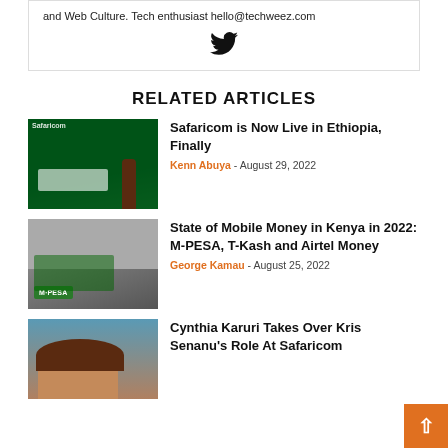and Web Culture. Tech enthusiast hello@techweez.com
[Figure (illustration): Twitter bird icon]
RELATED ARTICLES
[Figure (photo): Safaricom storefront with green signage and a person walking]
Safaricom is Now Live in Ethiopia, Finally
Kenn Abuya - August 29, 2022
[Figure (photo): M-PESA sign and booth at an outdoor location]
State of Mobile Money in Kenya in 2022: M-PESA, T-Kash and Airtel Money
George Kamau - August 25, 2022
[Figure (photo): Portrait of Cynthia Karuri]
Cynthia Karuri Takes Over Kris Senanu's Role At Safaricom